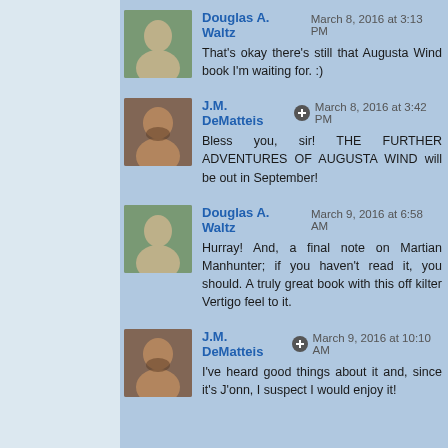Douglas A. Waltz  March 8, 2016 at 3:13 PM
That's okay there's still that Augusta Wind book I'm waiting for. :)
J.M. DeMatteis  March 8, 2016 at 3:42 PM
Bless you, sir! THE FURTHER ADVENTURES OF AUGUSTA WIND will be out in September!
Douglas A. Waltz  March 9, 2016 at 6:58 AM
Hurray! And, a final note on Martian Manhunter; if you haven't read it, you should. A truly great book with this off kilter Vertigo feel to it.
J.M. DeMatteis  March 9, 2016 at 10:10 AM
I've heard good things about it and, since it's J'onn, I suspect I would enjoy it!